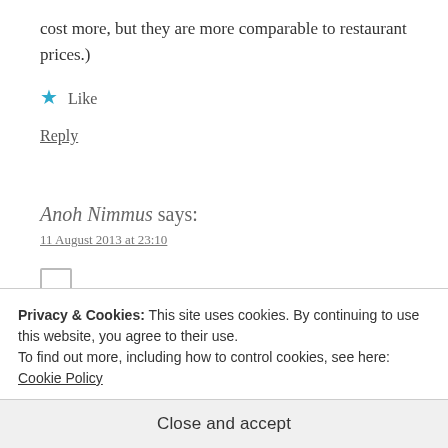cost more, but they are more comparable to restaurant prices.)
★ Like
Reply
Anoh Nimmus says:
11 August 2013 at 23:10
Privacy & Cookies: This site uses cookies. By continuing to use this website, you agree to their use.
To find out more, including how to control cookies, see here: Cookie Policy
Close and accept